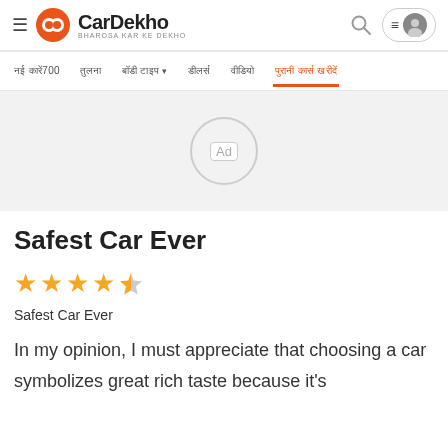[Figure (logo): CarDekho logo with hamburger menu, orange circle icon, brand name CarDekho, tagline BHAROSA KAR KE DEKHO, search icon, and user avatar button]
नई कारें700 | तुलना | बॉडी टाइप ▼ | डीलर्स | वीडियो | पुरानी कार्स खरीदें
[Figure (other): Advertisement placeholder - grey box with circular Ad icon in center]
Safest Car Ever
[Figure (other): Star rating: 3.5 out of 5 stars - four stars shown with last being half star]
Safest Car Ever
In my opinion, I must appreciate that choosing a car symbolizes great rich taste because it's